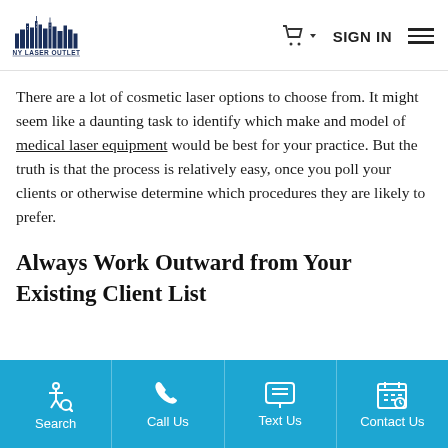NY LASER OUTLET — SIGN IN
There are a lot of cosmetic laser options to choose from. It might seem like a daunting task to identify which make and model of medical laser equipment would be best for your practice. But the truth is that the process is relatively easy, once you poll your clients or otherwise determine which procedures they are likely to prefer.
Always Work Outward from Your Existing Client List
Search | Call Us | Text Us | Contact Us